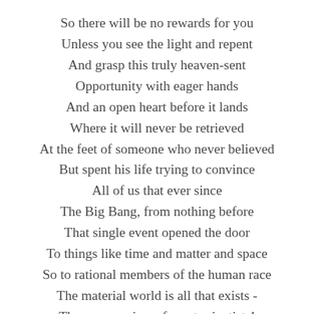So there will be no rewards for you
Unless you see the light and repent
And grasp this truly heaven-sent
Opportunity with eager hands
And an open heart before it lands
Where it will never be retrieved
At the feet of someone who never believed
But spent his life trying to convince
All of us that ever since
The Big Bang, from nothing before
That single event opened the door
To things like time and matter and space
So to rational members of the human race
The material world is all that exists -
The narrow view of most scientists!

Fellow believers, do not hide